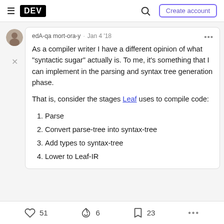DEV | Create account
edA-qa mort-ora-y · Jan 4 '18
As a compiler writer I have a different opinion of what "syntactic sugar" actually is. To me, it's something that I can implement in the parsing and syntax tree generation phase.

That is, consider the stages Leaf uses to compile code:
1. Parse
2. Convert parse-tree into syntax-tree
3. Add types to syntax-tree
4. Lower to Leaf-IR
51  6  23